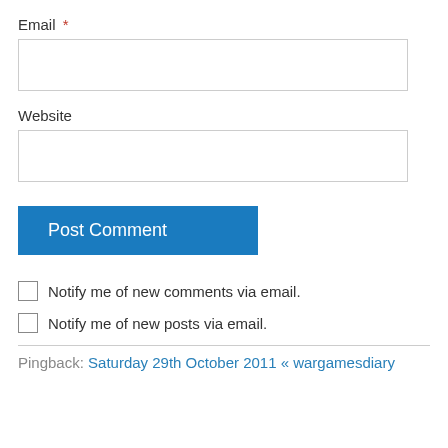Email *
Website
Post Comment
Notify me of new comments via email.
Notify me of new posts via email.
Pingback: Saturday 29th October 2011 « wargamesdiary